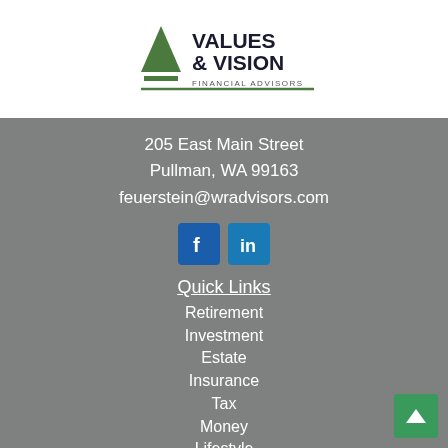[Figure (logo): Values & Vision Financial Advisors logo with green triangle/pyramid icon and company name in dark serif text]
205 East Main Street
Pullman, WA 99163
feuerstein@wradvisors.com
[Figure (infographic): Facebook and LinkedIn social media icon buttons]
Quick Links
Retirement
Investment
Estate
Insurance
Tax
Money
Lifestyle
All Articles
All Videos
All Calculators
All Downloads